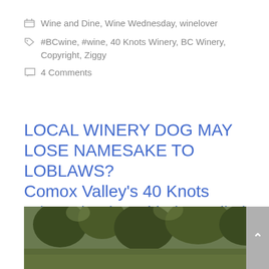Wine and Dine, Wine Wednesday, winelover
#BCwine, #wine, 40 Knots Winery, BC Winery, Copyright, Ziggy
4 Comments
LOCAL WINERY DOG MAY LOSE NAMESAKE TO LOBLAWS? Comox Valley's 40 Knots Winery battles with the Goliath
April 5, 2017 by MyVanCity
[Figure (photo): Outdoor vineyard or winery grounds with trees and foliage, partially visible at bottom of page]